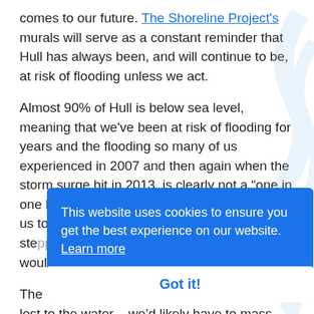comes to our future. The Shoreline Project's murals will serve as a constant reminder that Hull has always been, and will continue to be, at risk of flooding unless we act.

Almost 90% of Hull is below sea level, meaning that we've been at risk of flooding for years and the flooding so many of us experienced in 2007 and then again when the storm surge hit in 2013, is clearly not a "one in one hundred years" event, as many would like us to believe. This could become the nor… stepping… gondola look ap… reality for Hull wouldn't be quite so picturesque.

The reality is many people's homes would be lost to the water – we'd likely have to mass evacuate as we couldn't occupy the city anymore. We'd go
This website uses cookies to ensure you get the best experience on our website. Learn more
Got it!